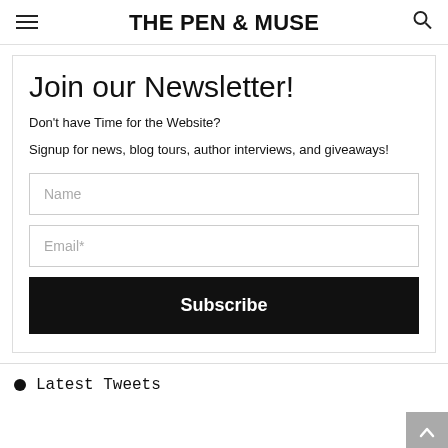THE PEN & MUSE
Join our Newsletter!
Don't have Time for the Website?
Signup for news, blog tours, author interviews, and giveaways!
Latest Tweets